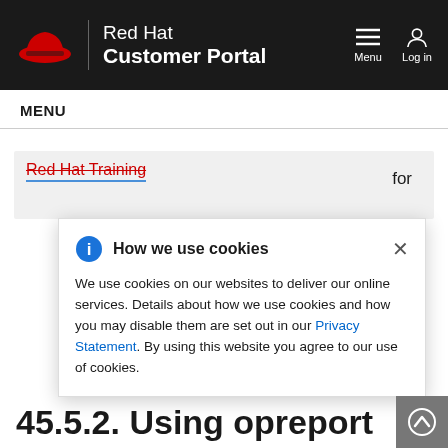Red Hat Customer Portal
MENU
Red Hat Training
for
How we use cookies
We use cookies on our websites to deliver our online services. Details about how we use cookies and how you may disable them are set out in our Privacy Statement. By using this website you agree to our use of cookies.
45.5.2. Using opreport